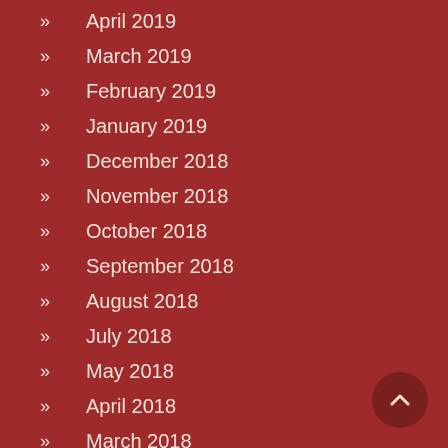April 2019
March 2019
February 2019
January 2019
December 2018
November 2018
October 2018
September 2018
August 2018
July 2018
May 2018
April 2018
March 2018
February 2018
January 2018
December 2017